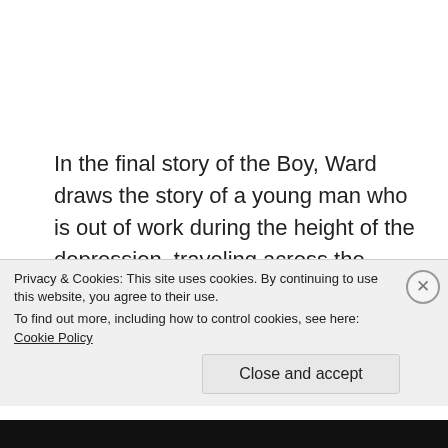In the final story of the Boy, Ward draws the story of a young man who is out of work during the height of the depression, traveling across the country looking for work. The boy goes from hopeful fiance to a man desperate enough to contemplate a mugging. Ward takes the opportunity with the Bo to leave the city, and here is art has a bit of the Thomas Heart Benton quality with a liquid sense of movement. The Boy…
Privacy & Cookies: This site uses cookies. By continuing to use this website, you agree to their use.
To find out more, including how to control cookies, see here: Cookie Policy
Close and accept